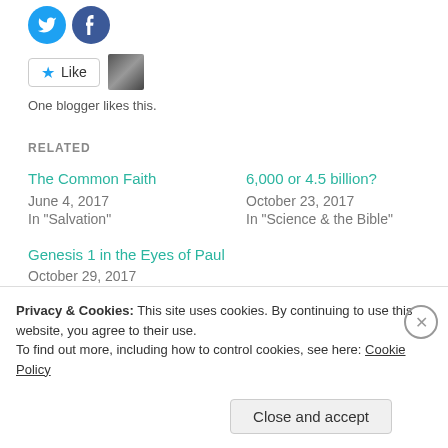[Figure (illustration): Social share buttons: Twitter (blue bird icon) and Facebook (blue f icon)]
[Figure (illustration): Like button with star icon and a small avatar photo thumbnail]
One blogger likes this.
RELATED
The Common Faith
June 4, 2017
In "Salvation"
6,000 or 4.5 billion?
October 23, 2017
In "Science & the Bible"
Genesis 1 in the Eyes of Paul
October 29, 2017
In "Science & the Bible"
Privacy & Cookies: This site uses cookies. By continuing to use this website, you agree to their use.
To find out more, including how to control cookies, see here: Cookie Policy